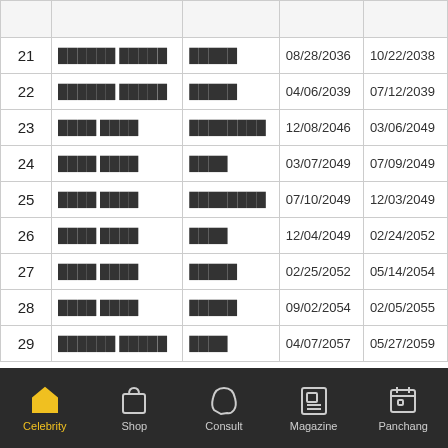| # | Name | Type | Start Date | End Date |
| --- | --- | --- | --- | --- |
| 21 | ██████ █████ | █████ | 08/28/2036 | 10/22/2038 |
| 22 | ██████ █████ | █████ | 04/06/2039 | 07/12/2039 |
| 23 | ████ ████ | ████████ | 12/08/2046 | 03/06/2049 |
| 24 | ████ ████ | ████ | 03/07/2049 | 07/09/2049 |
| 25 | ████ ████ | ████████ | 07/10/2049 | 12/03/2049 |
| 26 | ████ ████ | ████ | 12/04/2049 | 02/24/2052 |
| 27 | ████ ████ | █████ | 02/25/2052 | 05/14/2054 |
| 28 | ████ ████ | █████ | 09/02/2054 | 02/05/2055 |
| 29 | ██████ █████ | ████ | 04/07/2057 | 05/27/2059 |
Celebrity | Shop | Consult | Magazine | Panchang